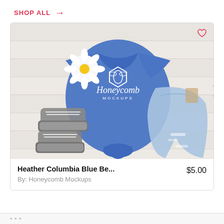SHOP ALL →
[Figure (photo): Product mockup photo: a heather columbia blue t-shirt with Honeycomb Mockups bee logo laid flat on a white wood surface, accompanied by a white daisy flower, grey sneakers, and distressed denim jeans.]
Heather Columbia Blue Be...
By: Honeycomb Mockups
$5.00